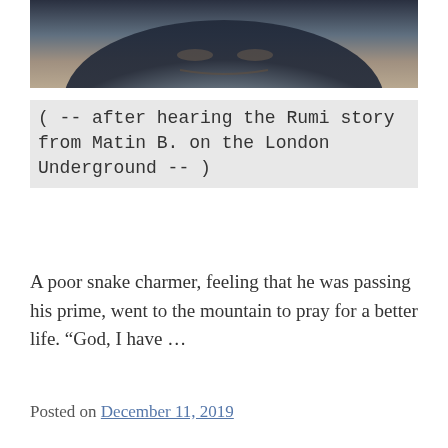[Figure (photo): Close-up partial photo of an aged face or textured surface, dark and muted tones]
( -- after hearing the Rumi story from Matin B. on the London Underground -- )
A poor snake charmer, feeling that he was passing his prime, went to the mountain to pray for a better life. “God, I have …
Posted on December 11, 2019